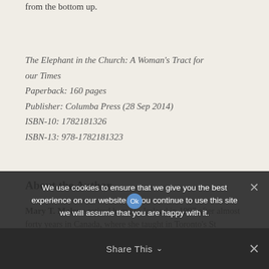from the bottom up.
The Elephant in the Church: A Woman's Tract for our Times
Paperback: 160 pages
Publisher: Columba Press (28 Sep 2014)
ISBN-10: 1782181326
ISBN-13: 978-1782181323
About the Author
Mary T. Malone retired home to Ireland in 1997 after almost forty years in Canada, where she taught in Toronto's St Augustine's Seminary and in the University of St Jerome's, the Catholic College on the campus of the
We use cookies to ensure that we give you the best experience on our website. If you continue to use this site we will assume that you are happy with it.
Share This